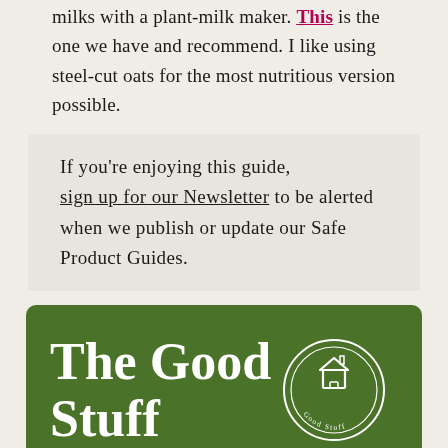milks with a plant-milk maker. This is the one we have and recommend. I like using steel-cut oats for the most nutritious version possible.
If you're enjoying this guide, sign up for our Newsletter to be alerted when we publish or update our Safe Product Guides.
[Figure (infographic): Green banner with large white bold text reading 'The Good Stuff' and a circular badge/logo on the right showing a house icon and 'Good Stuff' text around it]